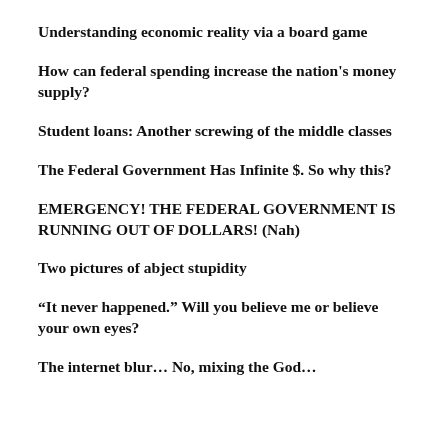Understanding economic reality via a board game
How can federal spending increase the nation's money supply?
Student loans: Another screwing of the middle classes
The Federal Government Has Infinite $. So why this?
EMERGENCY! THE FEDERAL GOVERNMENT IS RUNNING OUT OF DOLLARS! (Nah)
Two pictures of abject stupidity
“It never happened.” Will you believe me or believe your own eyes?
The internet blur… No, mixing the God…